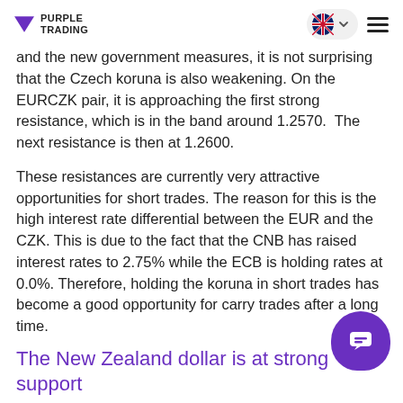PURPLE TRADING
and the new government measures, it is not surprising that the Czech koruna is also weakening. On the EURCZK pair, it is approaching the first strong resistance, which is in the band around 1.2570.  The next resistance is then at 1.2600.
These resistances are currently very attractive opportunities for short trades. The reason for this is the high interest rate differential between the EUR and the CZK. This is due to the fact that the CNB has raised interest rates to 2.75% while the ECB is holding rates at 0.0%. Therefore, holding the koruna in short trades has become a good opportunity for carry trades after a long time.
The New Zealand dollar is at strong support